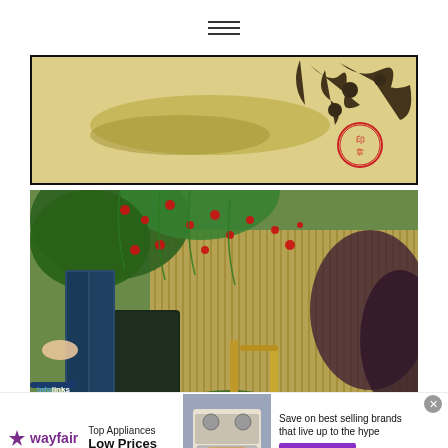Hamburger menu icon
[Figure (photo): Chinese ink painting with bamboo or plant motifs, red seal stamp, on yellowed paper in a dark frame]
[Figure (photo): Garden scene with lush green plants, red flowers, bamboo fence in background, bamboo water fountain, black storage tank, and a hand visible on the left]
infolinks
wayfair  Top Appliances  Low Prices  Save on best selling brands that live up to the hype  Shop now